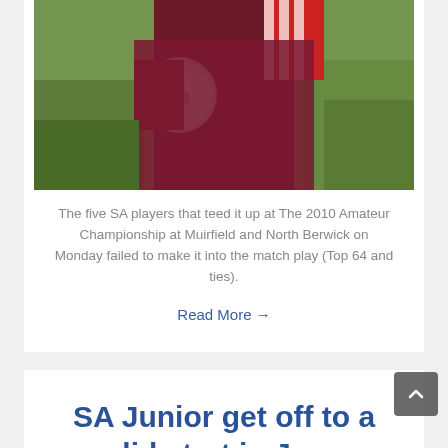[Figure (photo): A person in a dark maroon/burgundy outfit holding a golf club driver head, with green foliage in the background. The photo is cropped showing the torso and hands.]
The five SA players that teed it up at The 2010 Amateur Championship at Muirfield and North Berwick on Monday failed to make it into the match play (Top 64 and ties).
Read More →
SA Junior get off to a solid start in Japan while USA get off to a flier